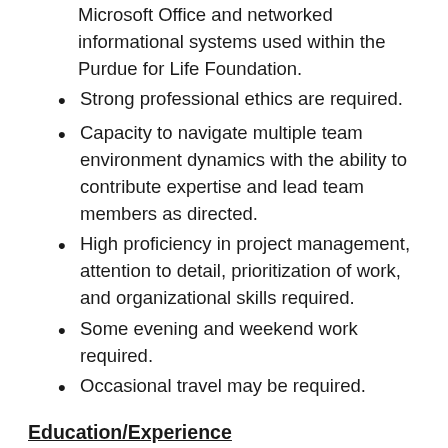Microsoft Office and networked informational systems used within the Purdue for Life Foundation.
Strong professional ethics are required.
Capacity to navigate multiple team environment dynamics with the ability to contribute expertise and lead team members as directed.
High proficiency in project management, attention to detail, prioritization of work, and organizational skills required.
Some evening and weekend work required.
Occasional travel may be required.
Education/Experience
Minimum of five years of higher-level donor relations experience required.